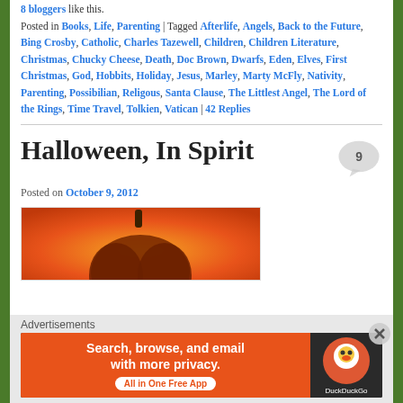8 bloggers like this.
Posted in Books, Life, Parenting | Tagged Afterlife, Angels, Back to the Future, Bing Crosby, Catholic, Charles Tazewell, Children, Children Literature, Christmas, Chucky Cheese, Death, Doc Brown, Dwarfs, Eden, Elves, First Christmas, God, Hobbits, Holiday, Jesus, Marley, Marty McFly, Nativity, Parenting, Possibilian, Religous, Santa Clause, The Littlest Angel, The Lord of the Rings, Time Travel, Tolkien, Vatican | 42 Replies
Halloween, In Spirit
Posted on October 9, 2012
[Figure (photo): Pumpkin silhouette against orange background]
Advertisements
[Figure (screenshot): DuckDuckGo advertisement banner: Search, browse, and email with more privacy. All in One Free App]